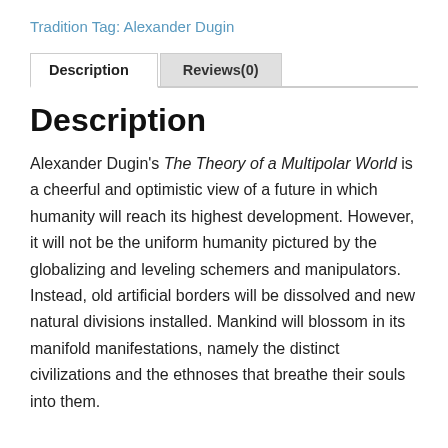Tradition Tag: Alexander Dugin
Description
Alexander Dugin's The Theory of a Multipolar World is a cheerful and optimistic view of a future in which humanity will reach its highest development. However, it will not be the uniform humanity pictured by the globalizing and leveling schemers and manipulators. Instead, old artificial borders will be dissolved and new natural divisions installed. Mankind will blossom in its manifold manifestations, namely the distinct civilizations and the ethnoses that breathe their souls into them.